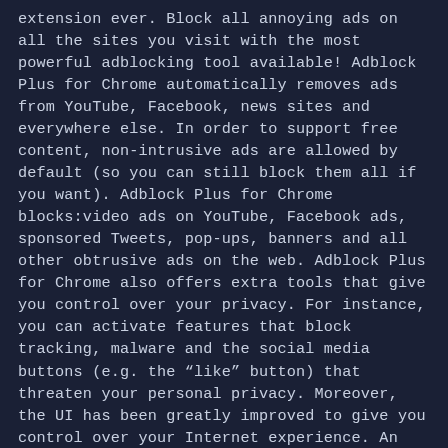extension ever. Block all annoying ads on all the sites you visit with the most powerful adblocking tool available! Adblock Plus for Chrome automatically removes ads from YouTube, Facebook, news sites and everywhere else. In order to support free content, non-intrusive ads are allowed by default (so you can still block them all if you want). Adblock Plus for Chrome blocks:video ads on YouTube, Facebook ads, sponsored Tweets, pop-ups, banners and all other obtrusive ads on the web. Adblock Plus for Chrome also offers extra tools that give you control over your privacy. For instance, you can activate features that block tracking, malware and the social media buttons (e.g. the "like" button) that threaten your personal privacy. Moreover, the UI has been greatly improved to give you control over your Internet experience. An integrated ad-counter shows how many ads you're blocking on each page. In addition, the icon now opens a bubble that shows your personal "ad stats" (how many ads have you blocked all-time?), lets you hide specific page elements and enables you to whitelist sites you'd like to support. The most popular extension ever is used by tens of